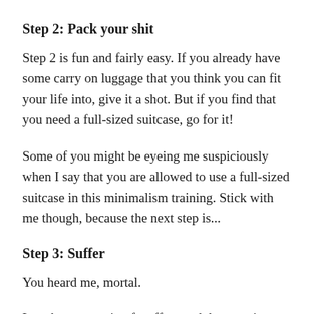Step 2: Pack your shit
Step 2 is fun and fairly easy. If you already have some carry on luggage that you think you can fit your life into, give it a shot. But if you find that you need a full-sized suitcase, go for it!
Some of you might be eyeing me suspiciously when I say that you are allowed to use a full-sized suitcase in this minimalism training. Stick with me though, because the next step is...
Step 3: Suffer
You heard me, mortal.
Lug that mountain of stuff up and down stairs, go on a